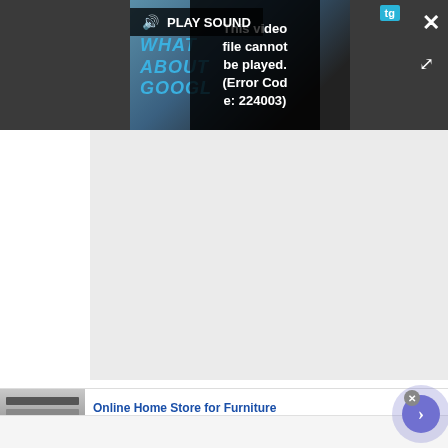[Figure (screenshot): Video player overlay showing a darkened UI with a play sound bar, a video thumbnail background with text 'WHAT ABOUT GOOGLE', a black error overlay stating 'This video file cannot be played. (Error Code: 224003)', a tg badge, close X button, and expand arrows.]
This video file cannot be played. (Error Code: 224003)
[Figure (screenshot): Light gray content area below video player, representing an empty/loading article content region.]
[Figure (screenshot): Advertisement banner for Wayfair: 'Online Home Store for Furniture', 'Shop Wayfair for A Zillion Things Home across all styles', 'www.wayfair.com', with furniture image on the left and a blue arrow button on the right.]
Online Home Store for Furniture
Shop Wayfair for A Zillion Things Home across all styles
www.wayfair.com